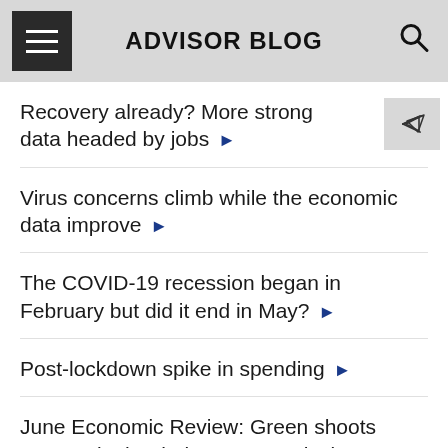ADVISOR BLOG
Recovery already? More strong data headed by jobs ▶
Virus concerns climb while the economic data improve ▶
The COVID-19 recession began in February but did it end in May? ▶
Post-lockdown spike in spending ▶
June Economic Review: Green shoots emerge in the darkest economic times ▶